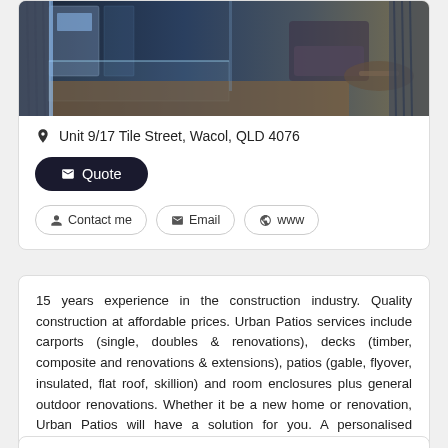[Figure (photo): Interior photo showing a modern room with glass panels, a chair, curtains and a table]
Unit 9/17 Tile Street, Wacol, QLD 4076
✉ Quote
👤 Contact me   ✉ Email   🌐 www
15 years experience in the construction industry. Quality construction at affordable prices. Urban Patios services include carports (single, doubles & renovations), decks (timber, composite and renovations & extensions), patios (gable, flyover, insulated, flat roof, skillion) and room enclosures plus general outdoor renovations. Whether it be a new home or renovation, Urban Patios will have a solution for you. A personalised approach, professional and friendly team and satisfaction guaranteed on... Read more